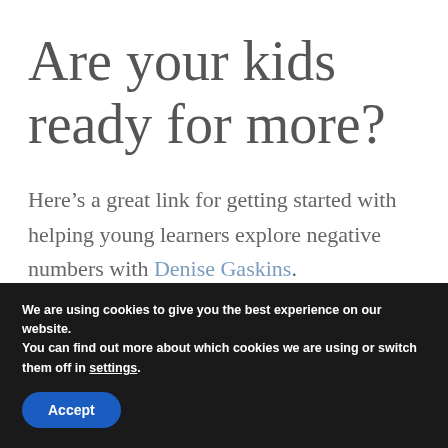Are your kids ready for more?
Here’s a great link for getting started with helping young learners explore negative numbers with Denise Gaskins.
We are using cookies to give you the best experience on our website.
You can find out more about which cookies we are using or switch them off in settings.
Accept